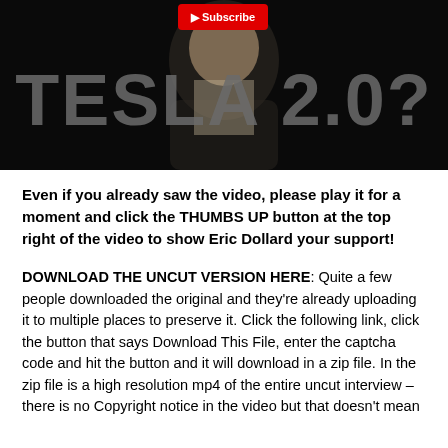[Figure (screenshot): YouTube video thumbnail with dark background showing a person in the background and large gray text reading 'TESLA 2.0?' with a red button/label partially visible at the top center.]
Even if you already saw the video, please play it for a moment and click the THUMBS UP button at the top right of the video to show Eric Dollard your support!
DOWNLOAD THE UNCUT VERSION HERE: Quite a few people downloaded the original and they're already uploading it to multiple places to preserve it. Click the following link, click the button that says Download This File, enter the captcha code and hit the button and it will download in a zip file. In the zip file is a high resolution mp4 of the entire uncut interview – there is no Copyright notice in the video but that doesn't mean